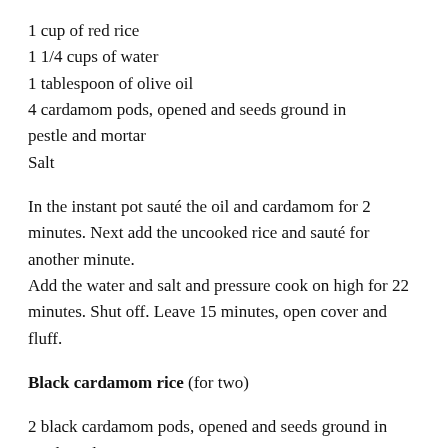1 cup of red rice
1 1/4 cups of water
1 tablespoon of olive oil
4 cardamom pods, opened and seeds ground in pestle and mortar
Salt
In the instant pot sauté the oil and cardamom for 2 minutes. Next add the uncooked rice and sauté for another minute.
Add the water and salt and pressure cook on high for 22 minutes. Shut off. Leave 15 minutes, open cover and fluff.
Black cardamom rice (for two)
2 black cardamom pods, opened and seeds ground in pestle and mortar